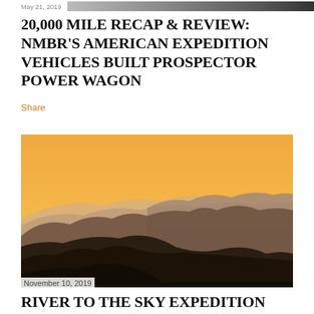May 21, 2019
20,000 MILE RECAP & REVIEW: NMBR'S AMERICAN EXPEDITION VEHICLES BUILT PROSPECTOR POWER WAGON
Share
[Figure (photo): Silhouetted mountain ridgelines against an orange/amber sunset sky, layered in hazy depth]
November 10, 2019
RIVER TO THE SKY EXPEDITION